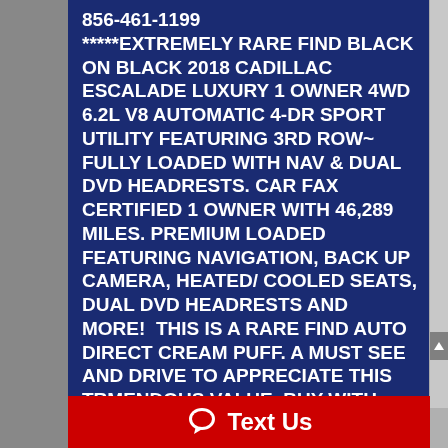856-461-1199 *****EXTREMELY RARE FIND BLACK ON BLACK 2018 CADILLAC ESCALADE LUXURY 1 OWNER 4WD 6.2L V8 AUTOMATIC 4-DR SPORT UTILITY FEATURING 3RD ROW~ FULLY LOADED WITH NAV & DUAL DVD HEADRESTS. CAR FAX CERTIFIED 1 OWNER WITH 46,289 MILES. PREMIUM LOADED FEATURING NAVIGATION, BACK UP CAMERA, HEATED/ COOLED SEATS, DUAL DVD HEADRESTS AND MORE!  THIS IS A RARE FIND AUTO DIRECT CREAM PUFF. A MUST SEE AND DRIVE TO APPRECIATE THIS TRMENDOUS VALUE. BUY WITH CONFIDENCE FROM NEW JERSEY'S #1 RATED DEALER 10 YEARS IN A ROW AUTO DIRECT CARS, 3 GENERATIONS AND OVER
Text Us